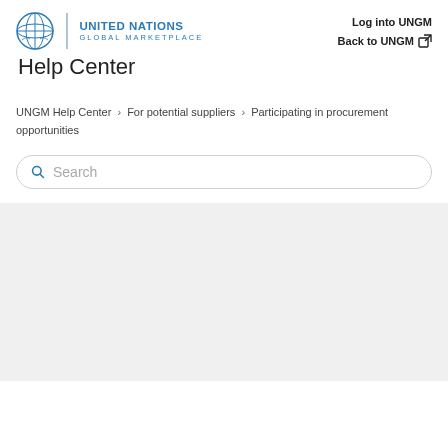[Figure (logo): United Nations Global Marketplace logo with UN globe icon and text 'UNITED NATIONS GLOBAL MARKETPLACE']
Log into UNGM
Help Center
Back to UNGM
UNGM Help Center > For potential suppliers > Participating in procurement opportunities
Search